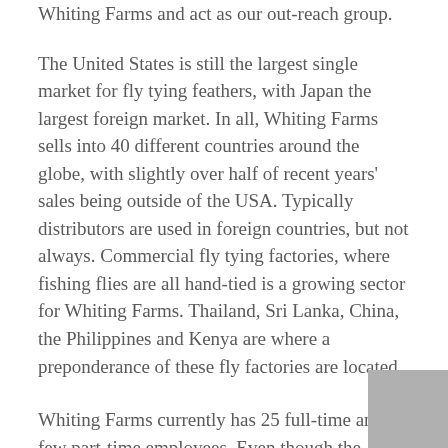Whiting Farms and act as our out-reach group.
The United States is still the largest single market for fly tying feathers, with Japan the largest foreign market. In all, Whiting Farms sells into 40 different countries around the globe, with slightly over half of recent years' sales being outside of the USA. Typically distributors are used in foreign countries, but not always. Commercial fly tying factories, where fishing flies are all hand-tied is a growing sector for Whiting Farms. Thailand, Sri Lanka, China, the Philippines and Kenya are where a preponderance of these fly factories are located.
Whiting Farms currently has 25 full-time and a few part-time employees. Even though the market for tying feathers is somewhat seasonal – peak sales months are December through May – production is mostly year-round due to following the hen...